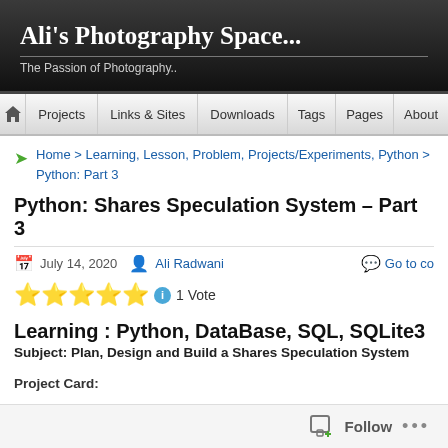Ali's Photography Space... The Passion of Photography..
Projects | Links & Sites | Downloads | Tags | Pages | About
Home > Learning, Lesson, Problem, Projects/Experiments, Python > Python: Part 3
Python: Shares Speculation System – Part 3
July 14, 2020  Ali Radwani  Go to co...
1 Vote
Learning : Python, DataBase, SQL, SQLite3
Subject: Plan, Design and Build a Shares Speculation System
Project Card:
Project Name: Shares Speculation System
By: Ali
Follow ...